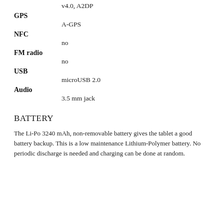v4.0, A2DP
GPS
A-GPS
NFC
no
FM radio
no
USB
microUSB 2.0
Audio
3.5 mm jack
BATTERY
The Li-Po 3240 mAh, non-removable battery gives the tablet a good battery backup. This is a low maintenance Lithium-Polymer battery. No periodic discharge is needed and charging can be done at random.